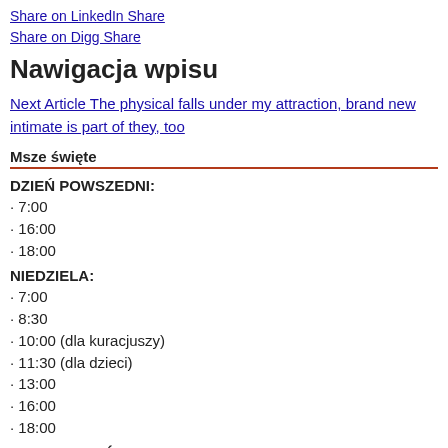Share on LinkedIn Share
Share on Digg Share
Nawigacja wpisu
Next Article The physical falls under my attraction, brand new intimate is part of they, too
Msze święte
DZIEŃ POWSZEDNI:
· 7:00
· 16:00
· 18:00
NIEDZIELA:
· 7:00
· 8:30
· 10:00 (dla kuracjuszy)
· 11:30 (dla dzieci)
· 13:00
· 16:00
· 18:00
UROCZYSTOŚCI: